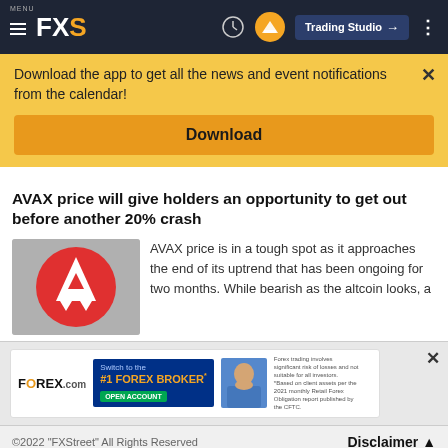MENU FXS | Trading Studio
Download the app to get all the news and event notifications from the calendar!
Download
AVAX price will give holders an opportunity to get out before another 20% crash
[Figure (logo): Avalanche (AVAX) cryptocurrency logo — white geometric arrow/triangle on red circle background]
AVAX price is in a tough spot as it approaches the end of its uptrend that has been ongoing for two months. While bearish as the altcoin looks, a
[Figure (photo): FOREX.com advertisement: Switch to the #1 FOREX BROKER* OPEN ACCOUNT, with photo of man in blue shirt and disclaimer text]
©2022 "FXStreet" All Rights Reserved   Disclaimer ▲